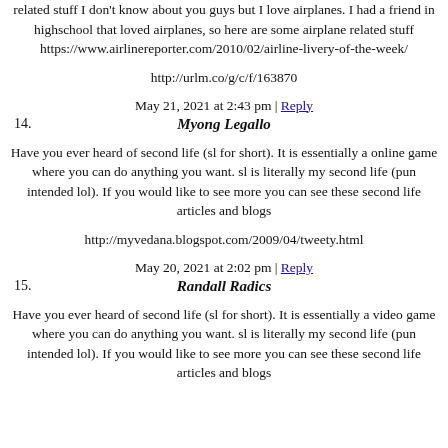related stuff I don't know about you guys but I love airplanes. I had a friend in highschool that loved airplanes, so here are some airplane related stuff https://www.airlinereporter.com/2010/02/airline-livery-of-the-week/
http://urlm.co/g/c/f/163870
May 21, 2021 at 2:43 pm | Reply
14. Myong Legallo
Have you ever heard of second life (sl for short). It is essentially a online game where you can do anything you want. sl is literally my second life (pun intended lol). If you would like to see more you can see these second life articles and blogs
http://myvedana.blogspot.com/2009/04/tweety.html
May 20, 2021 at 2:02 pm | Reply
15. Randall Radics
Have you ever heard of second life (sl for short). It is essentially a video game where you can do anything you want. sl is literally my second life (pun intended lol). If you would like to see more you can see these second life articles and blogs